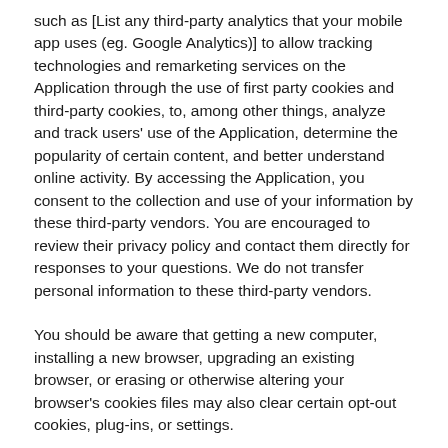such as [List any third-party analytics that your mobile app uses (eg. Google Analytics)] to allow tracking technologies and remarketing services on the Application through the use of first party cookies and third-party cookies, to, among other things, analyze and track users' use of the Application, determine the popularity of certain content, and better understand online activity. By accessing the Application, you consent to the collection and use of your information by these third-party vendors. You are encouraged to review their privacy policy and contact them directly for responses to your questions. We do not transfer personal information to these third-party vendors.
You should be aware that getting a new computer, installing a new browser, upgrading an existing browser, or erasing or otherwise altering your browser's cookies files may also clear certain opt-out cookies, plug-ins, or settings.